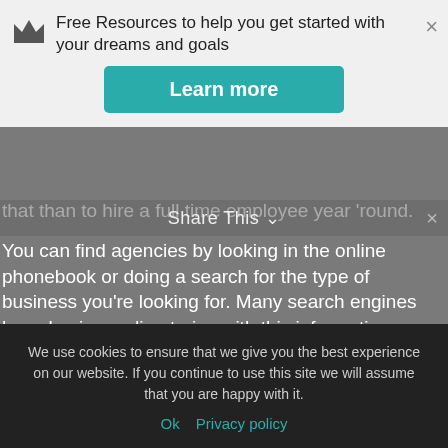[Figure (other): Top notification banner with crown icon, text 'Free Resources to help you get started with your dreams and goals', a teal 'Learn more' button, and a close (×) button]
that than to hire a full time employee year 'round.
Share This ∨
You can find agencies by looking in the online phonebook or doing a search for the type of business you're looking for. Many search engines have business directories with this information.
You also want to check any trade magazines or sites that are associated with the type of freelance work that you do. That's because these magazines and sites will often have
We use cookies to ensure that we give you the best experience on our website. If you continue to use this site we will assume that you are happy with it.
Ok   Privacy policy